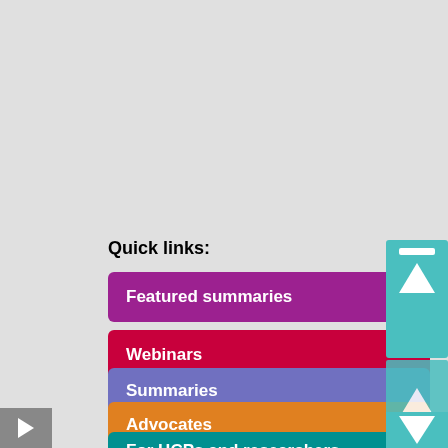Quick links:
Featured summaries
Webinars
Summaries
Advocates
For HCPs and researchers